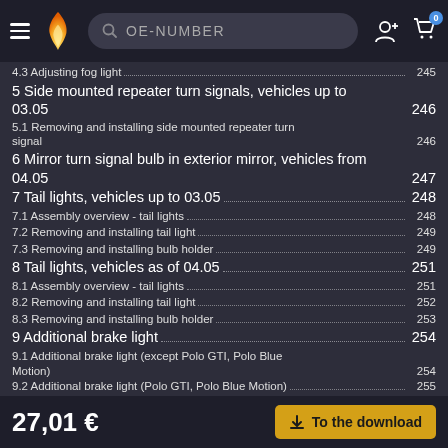OE-NUMBER search bar with logo and cart
4.3 Adjusting fog light ... 245
5 Side mounted repeater turn signals, vehicles up to 03.05 ... 246
5.1 Removing and installing side mounted repeater turn signal ... 246
6 Mirror turn signal bulb in exterior mirror, vehicles from 04.05 ... 247
7 Tail lights, vehicles up to 03.05 ... 248
7.1 Assembly overview - tail lights ... 248
7.2 Removing and installing tail light ... 249
7.3 Removing and installing bulb holder ... 249
8 Tail lights, vehicles as of 04.05 ... 251
8.1 Assembly overview - tail lights ... 251
8.2 Removing and installing tail light ... 252
8.3 Removing and installing bulb holder ... 253
9 Additional brake light ... 254
9.1 Additional brake light (except Polo GTI, Polo Blue Motion) ... 254
9.2 Additional brake light (Polo GTI, Polo Blue Motion) ... 255
10 Number plate lights ... 257
10.1 Removing and installing number plate light X ... 257
11 Steering column switch ... 258
11.1 ... installing steering col... ... 261
11.3 Basic setting of steering angle sensor G85 ... 262
12 Ignition/starter switch and lock cylinder ... 264
27,01 € | To the download